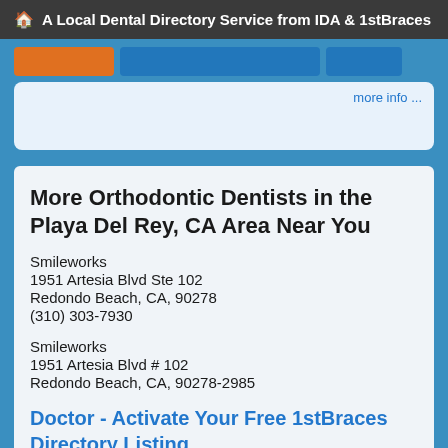A Local Dental Directory Service from IDA & 1stBraces
[Figure (screenshot): Search bar area with orange button, blue input field, and blue button on a blue background]
more info ...
More Orthodontic Dentists in the Playa Del Rey, CA Area Near You
Smileworks
1951 Artesia Blvd Ste 102
Redondo Beach, CA, 90278
(310) 303-7930
Smileworks
1951 Artesia Blvd # 102
Redondo Beach, CA, 90278-2985
Doctor - Activate Your Free 1stBraces Directory Listing